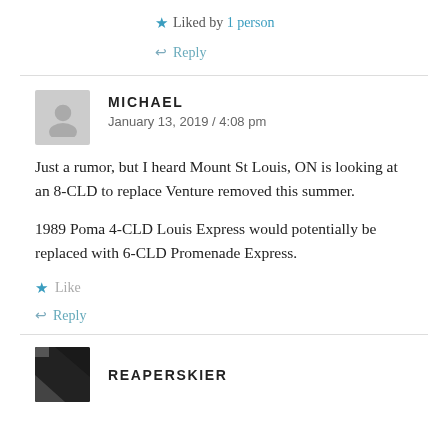★ Liked by 1 person
↩ Reply
MICHAEL
January 13, 2019 / 4:08 pm
Just a rumor, but I heard Mount St Louis, ON is looking at an 8-CLD to replace Venture removed this summer.
1989 Poma 4-CLD Louis Express would potentially be replaced with 6-CLD Promenade Express.
★ Like
↩ Reply
REAPERSKIER